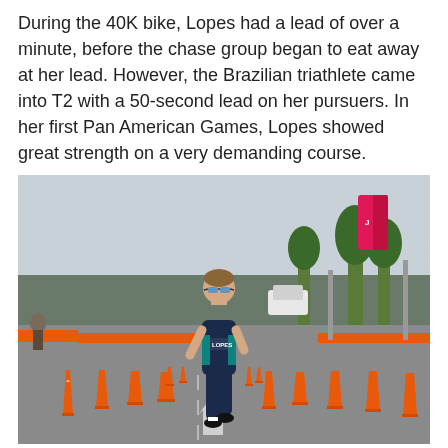During the 40K bike, Lopes had a lead of over a minute, before the chase group began to eat away at her lead. However, the Brazilian triathlete came into T2 with a 50-second lead on her pursuers. In her first Pan American Games, Lopes showed great strength on a very demanding course.
[Figure (photo): A female triathlete wearing a dark navy racing suit with 'LOPES' written on her chest and sunglasses, running on a road course lined with orange traffic cones on both sides. Mountains and palm trees are visible in the background, along with banners and street lights. The road has orange barriers along the sides.]